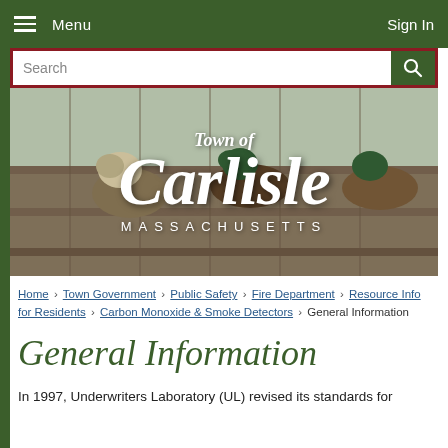Menu  Sign In
[Figure (screenshot): Search bar with magnifying glass icon on dark green button, red border]
[Figure (illustration): Town of Carlisle Massachusetts banner with wood ducks on a wooden fence, white italic text overlay]
Home › Town Government › Public Safety › Fire Department › Resource Info for Residents › Carbon Monoxide & Smoke Detectors › General Information
General Information
In 1997, Underwriters Laboratory (UL) revised its standards for